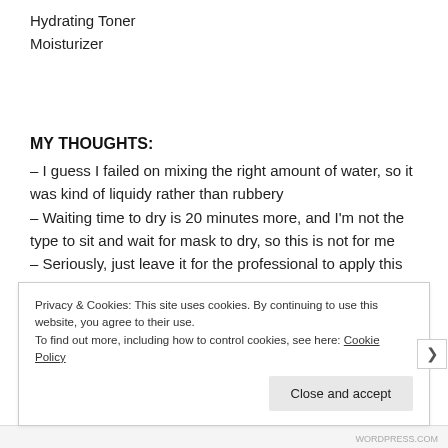Hydrating Toner
Moisturizer
MY THOUGHTS:
– I guess I failed on mixing the right amount of water, so it was kind of liquidy rather than rubbery
– Waiting time to dry is 20 minutes more, and I'm not the type to sit and wait for mask to dry, so this is not for me
– Seriously, just leave it for the professional to apply this
Privacy & Cookies: This site uses cookies. By continuing to use this website, you agree to their use.
To find out more, including how to control cookies, see here: Cookie Policy